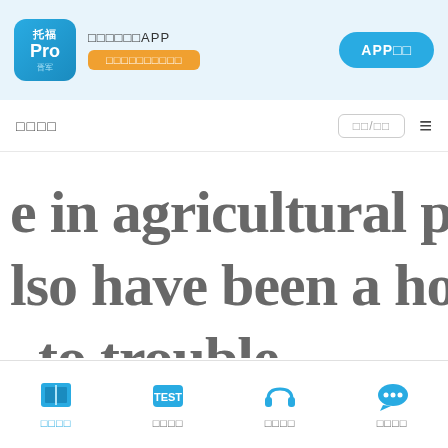[Figure (screenshot): Mobile app UI screenshot for 托福Pro (TOEFL Pro) application. Top header bar with logo, promotional text, and APP download button. Navigation bar with title and search. Main content showing large English passage text: 'e in agricultural pr... lso have been a hol... to trouble.' Bottom tab navigation with four items.]
托福Pro APP 免费下载APP
□□□□
e in agricultural pr
lso have been a hol
to trouble.
□□□□  □□□□  □□□□  □□□□